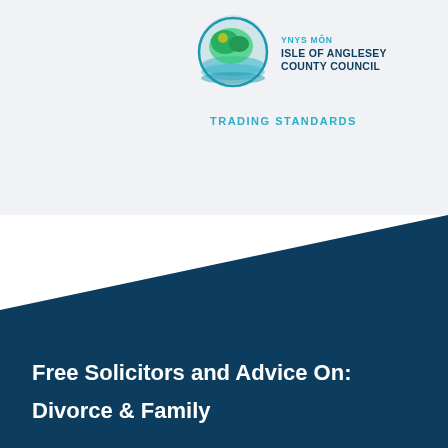[Figure (logo): Isle of Anglesey County Council logo with globe/map graphic and teal/blue text reading YNYS MON ISLE OF ANGLESEY COUNTY COUNCIL, with TRADING STANDARDS beneath]
Free Solicitors and Advice On:
Divorce & Family